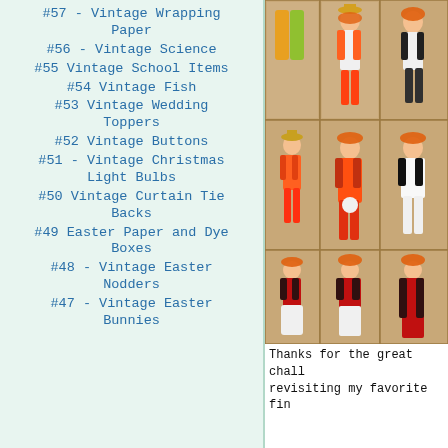#57 - Vintage Wrapping Paper
#56 - Vintage Science
#55 Vintage School Items
#54 Vintage Fish
#53 Vintage Wedding Toppers
#52 Vintage Buttons
#51 - Vintage Christmas Light Bulbs
#50 Vintage Curtain Tie Backs
#49 Easter Paper and Dye Boxes
#48 - Vintage Easter Nodders
#47 - Vintage Easter Bunnies
[Figure (photo): Vintage wooden clown/jester figurines in cardboard box compartments, displayed on a floral tablecloth background]
Thanks for the great chall revisiting my favorite fin